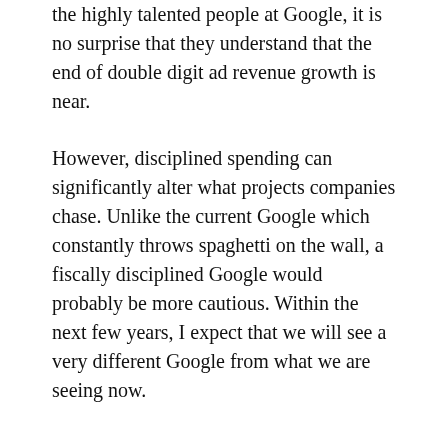the highly talented people at Google, it is no surprise that they understand that the end of double digit ad revenue growth is near.
However, disciplined spending can significantly alter what projects companies chase. Unlike the current Google which constantly throws spaghetti on the wall, a fiscally disciplined Google would probably be more cautious. Within the next few years, I expect that we will see a very different Google from what we are seeing now.
Update
One important thing to note is that “Peak